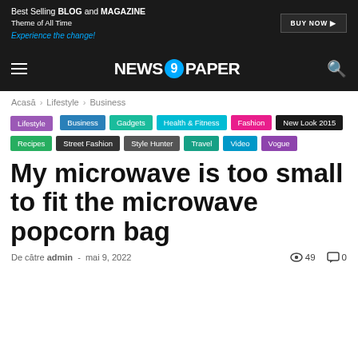[Figure (screenshot): Ad banner: Best Selling BLOG and MAGAZINE Theme of All Time - Experience the change! BUY NOW button on dark background]
[Figure (logo): NEWS9PAPER navigation bar with hamburger menu and search icon on dark background]
Acasă › Lifestyle › Business
Lifestyle
Business
Gadgets
Health & Fitness
Fashion
New Look 2015
Recipes
Street Fashion
Style Hunter
Travel
Video
Vogue
My microwave is too small to fit the microwave popcorn bag
De către admin - mai 9, 2022  👁 49  💬 0